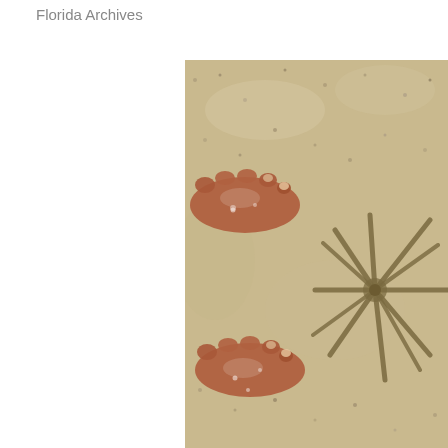Florida Archives
[Figure (photo): Overhead view of two wet, bare feet standing on sandy beach with small stones. A large starfish (sand dollar or brittle star) is visible to the right of the feet on the sand.]